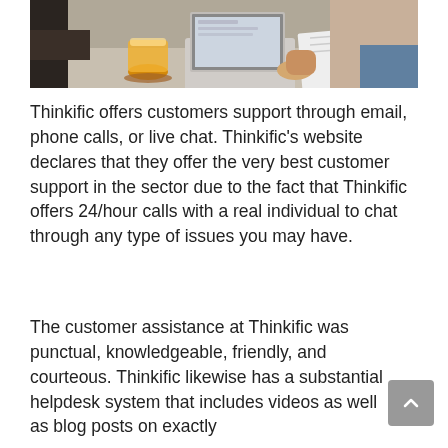[Figure (photo): Person working on a laptop at a desk with a glass of orange juice and a notebook. Another person partially visible in the background.]
Thinkific offers customers support through email, phone calls, or live chat. Thinkific's website declares that they offer the very best customer support in the sector due to the fact that Thinkific offers 24/hour calls with a real individual to chat through any type of issues you may have.
The customer assistance at Thinkific was punctual, knowledgeable, friendly, and courteous. Thinkific likewise has a substantial helpdesk system that includes videos as well as blog posts on exactly...